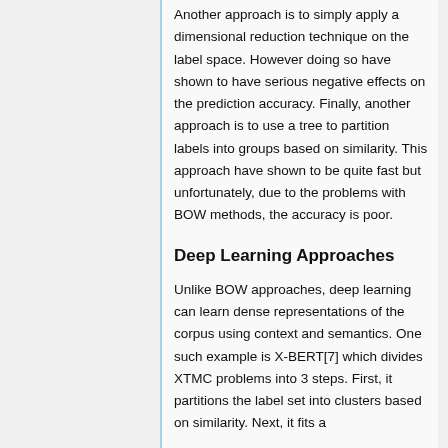Another approach is to simply apply a dimensional reduction technique on the label space. However doing so have shown to have serious negative effects on the prediction accuracy. Finally, another approach is to use a tree to partition labels into groups based on similarity. This approach have shown to be quite fast but unfortunately, due to the problems with BOW methods, the accuracy is poor.
Deep Learning Approaches
Unlike BOW approaches, deep learning can learn dense representations of the corpus using context and semantics. One such example is X-BERT[7] which divides XTMC problems into 3 steps. First, it partitions the label set into clusters based on similarity. Next, it fits a